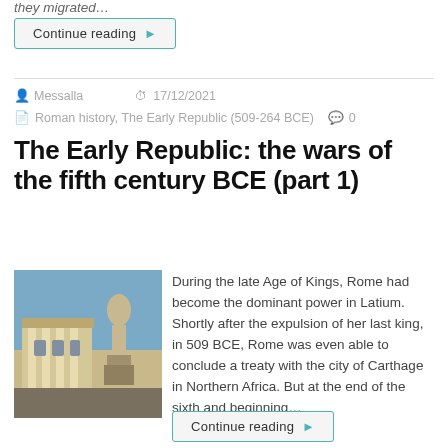they migrated…
Continue reading ▶
Messalla  17/12/2021
Roman history, The Early Republic (509-264 BCE)  0
The Early Republic: the wars of the fifth century BCE (part 1)
[Figure (photo): Photograph of Roman classical architecture and statues against a blue sky]
During the late Age of Kings, Rome had become the dominant power in Latium. Shortly after the expulsion of her last king, in 509 BCE, Rome was even able to conclude a treaty with the city of Carthage in Northern Africa. But at the end of the sixth and beginning…
Continue reading ▶